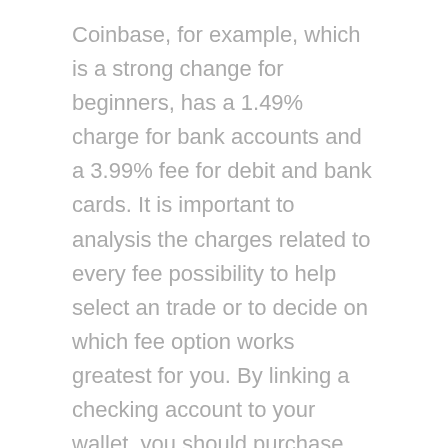Coinbase, for example, which is a strong change for beginners, has a 1.49% charge for bank accounts and a 3.99% fee for debit and bank cards. It is important to analysis the charges related to every fee possibility to help select an trade or to decide on which fee option works greatest for you. By linking a checking account to your wallet, you should purchase and promote bitcoin and deposit that money directly into your account. An essential factor to note when making a cryptocurrency change account is to make use of safe web practices. This contains using two-issue authentication and using a password that is distinctive and lengthy, together with a variety of lowercase letters, capitalized letters, special characters, and numbers. With the ethos of Bitcoin being